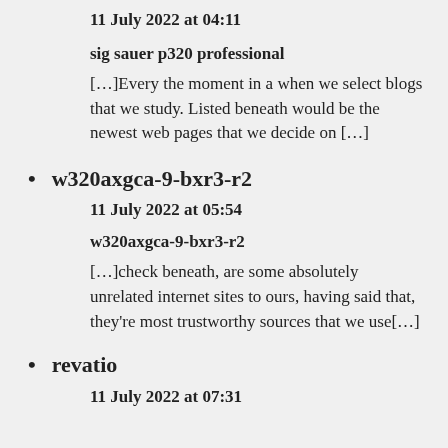11 July 2022 at 04:11
sig sauer p320 professional
[…]Every the moment in a when we select blogs that we study. Listed beneath would be the newest web pages that we decide on […]
w320axgca-9-bxr3-r2
11 July 2022 at 05:54
w320axgca-9-bxr3-r2
[…]check beneath, are some absolutely unrelated internet sites to ours, having said that, they're most trustworthy sources that we use[…]
revatio
11 July 2022 at 07:31